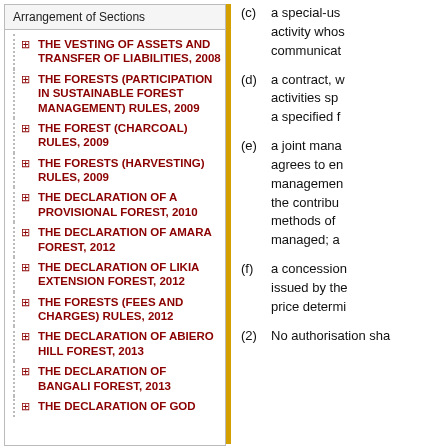Arrangement of Sections
THE VESTING OF ASSETS AND TRANSFER OF LIABILITIES, 2008
THE FORESTS (PARTICIPATION IN SUSTAINABLE FOREST MANAGEMENT) RULES, 2009
THE FOREST (CHARCOAL) RULES, 2009
THE FORESTS (HARVESTING) RULES, 2009
THE DECLARATION OF A PROVISIONAL FOREST, 2010
THE DECLARATION OF AMARA FOREST, 2012
THE DECLARATION OF LIKIA EXTENSION FOREST, 2012
THE FORESTS (FEES AND CHARGES) RULES, 2012
THE DECLARATION OF ABIERO HILL FOREST, 2013
THE DECLARATION OF BANGALI FOREST, 2013
THE DECLARATION OF GOD
(c) a special-use activity whose communication
(d) a contract, with activities specified a specified f
(e) a joint management, agrees to enter management, the contribution methods of managed; a
(f) a concession, issued by the price determined
(2) No authorisation sha